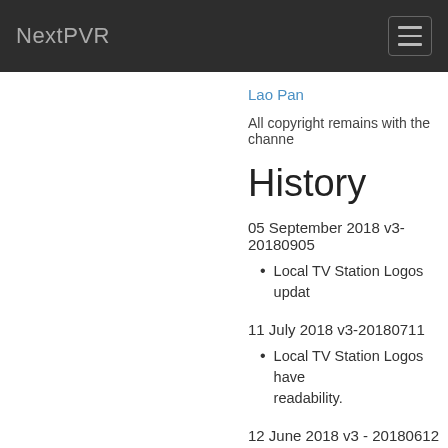NextPVR
Lao Pan
All copyright remains with the channe
History
05 September 2018 v3-20180905
Local TV Station Logos updat
11 July 2018 v3-20180711
Local TV Station Logos have readability.
12 June 2018 v3 - 20180612
TV Logos, added Paramount
Radio Station Logos have all
02 June 2018 v3 - 20180602